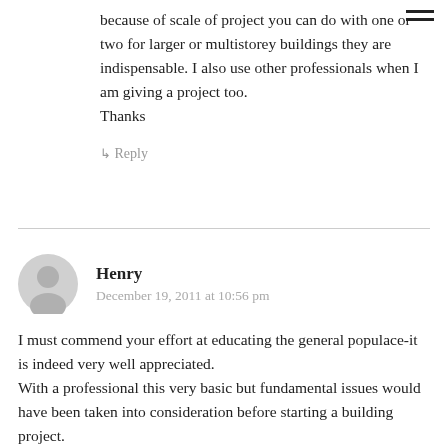because of scale of project you can do with one or two for larger or multistorey buildings they are indispensable. I also use other professionals when I am giving a project too.
Thanks
↳ Reply
Henry
December 19, 2011 at 10:56 pm
I must commend your effort at educating the general populace-it is indeed very well appreciated.
With a professional this very basic but fundamental issues would have been taken into consideration before starting a building project.